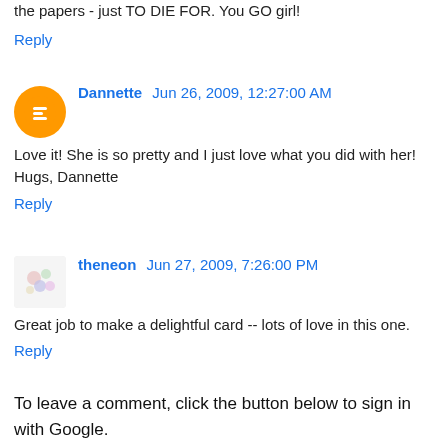the papers - just TO DIE FOR. You GO girl!
Reply
Dannette  Jun 26, 2009, 12:27:00 AM
Love it! She is so pretty and I just love what you did with her!
Hugs, Dannette
Reply
theneon  Jun 27, 2009, 7:26:00 PM
Great job to make a delightful card -- lots of love in this one.
Reply
To leave a comment, click the button below to sign in with Google.
SIGN IN WITH GOOGLE